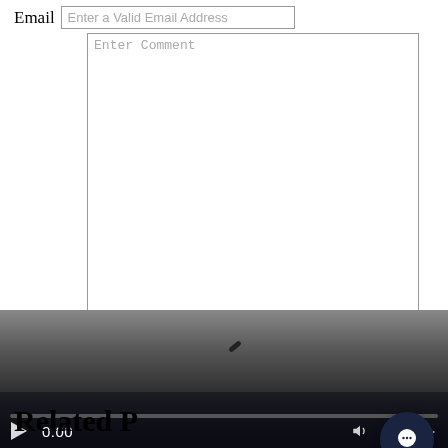Email
Enter a Valid Email Address
Enter Comment
Comment
Submit Comment
[Figure (screenshot): Video player with dark background, showing time 0:00, play button, volume icon, fullscreen icon, more options icon, and a progress bar. A chat bubble icon appears in the bottom right corner.]
Related P...